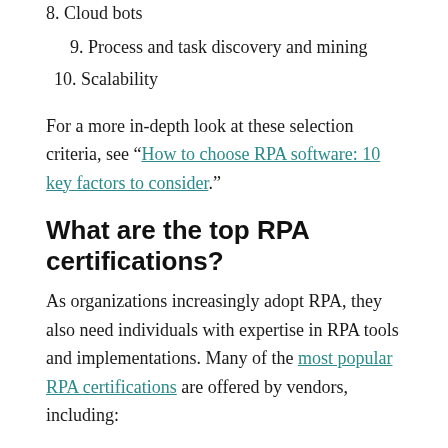8. Cloud bots
9. Process and task discovery and mining
10. Scalability
For a more in-depth look at these selection criteria, see “How to choose RPA software: 10 key factors to consider.”
What are the top RPA certifications?
As organizations increasingly adopt RPA, they also need individuals with expertise in RPA tools and implementations. Many of the most popular RPA certifications are offered by vendors, including: